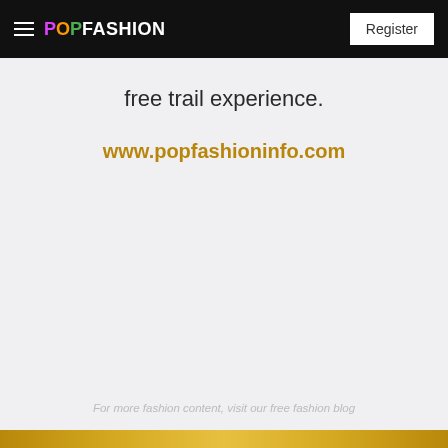POPFASHION | Register
free trail experience.
www.popfashioninfo.com
For more fashion content, visit our free fashion blog